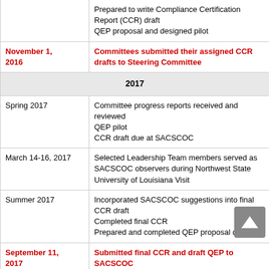| Date | Activity |
| --- | --- |
|  | Prepared to write Compliance Certification Report (CCR) draft
QEP proposal and designed pilot |
| November 1, 2016 | Committees submitted their assigned CCR drafts to Steering Committee |
| 2017 |  |
| Spring 2017 | Committee progress reports received and reviewed
QEP pilot
CCR draft due at SACSCOC |
| March 14-16, 2017 | Selected Leadership Team members served as SACSCOC observers during Northwest State University of Louisiana Visit |
| Summer 2017 | Incorporated SACSCOC suggestions into final CCR draft
Completed final CCR
Prepared and completed QEP proposal draft |
| September 11, 2017 | Submitted final CCR and draft QEP to SACSCOC |
| November 7-10, | SACSCOC Off-Site Peer Review |